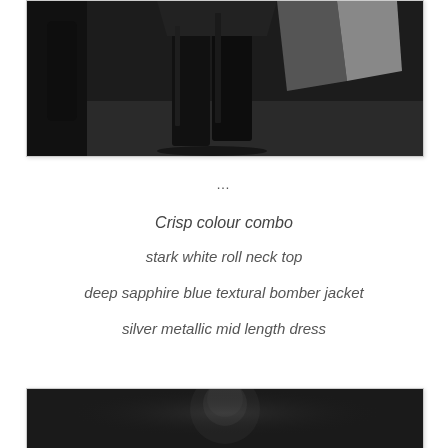[Figure (photo): Fashion runway photo showing model's legs in black knee-high boots with dark background, cropped view]
…
Crisp colour combo
stark white roll neck top
deep sapphire blue textural bomber jacket
silver metallic mid length dress
[Figure (photo): Fashion runway photo, partial view, dark background, figure partially visible at bottom of page]